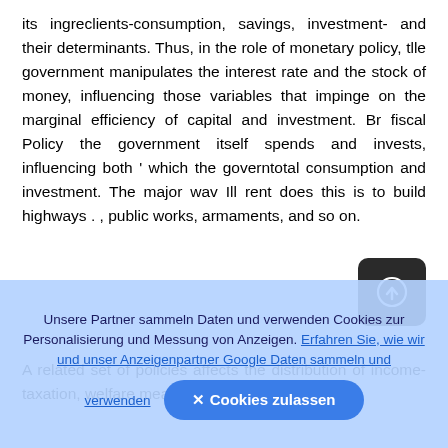its ingreclients-consumption, savings, investment- and their determinants. Thus, in the role of monetary policy, tlle government manipulates the interest rate and the stock of money, influencing those variables that impinge on the marginal efficiency of capital and investment. Br fiscal Policy the government itself spends and invests, influencing both ' which the governtotal consumption and investment. The major wav Ill rent does this is to build highways . , public works, armaments, and so on.
[Figure (other): Small dark rounded square icon with a circular upload/navigation arrow symbol in white]
A related set of policies affects the distribution of income-taxation, welfare measures, subsidies, and
Unsere Partner sammeln Daten und verwenden Cookies zur Personalisierung und Messung von Anzeigen. Erfahren Sie, wie wir und unser Anzeigenpartner Google Daten sammeln und verwenden